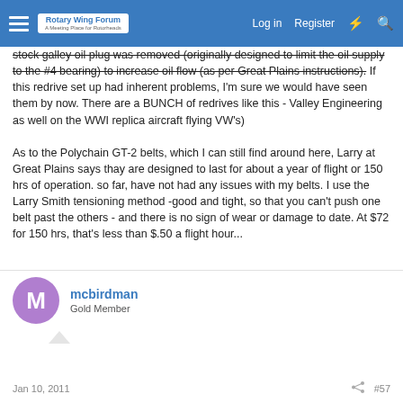Rotary Wing Forum | Log in | Register
stock galley oil plug was removed (originally designed to limit the oil supply to the #4 bearing) to increase oil flow (as per Great Plains instructions). If this redrive set up had inherent problems, I'm sure we would have seen them by now. There are a BUNCH of redrives like this - Valley Engineering as well on the WWI replica aircraft flying VW's)

As to the Polychain GT-2 belts, which I can still find around here, Larry at Great Plains says thay are designed to last for about a year of flight or 150 hrs of operation. so far, have not had any issues with my belts. I use the Larry Smith tensioning method -good and tight, so that you can't push one belt past the others - and there is no sign of wear or damage to date. At $72 for 150 hrs, that's less than $.50 a flight hour...
mcbirdman
Gold Member
Jan 10, 2011  #57